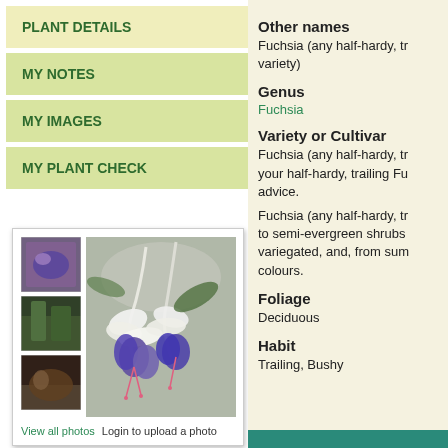PLANT DETAILS
MY NOTES
MY IMAGES
MY PLANT CHECK
[Figure (photo): Three thumbnail photos of Fuchsia plants and one main large photo of white and purple Fuchsia flowers hanging down]
View all photos  Login to upload a photo
Other names
Fuchsia (any half-hardy, trailing variety)
Genus
Fuchsia
Variety or Cultivar
Fuchsia (any half-hardy, trailing your half-hardy, trailing Fuchsia advice.
Fuchsia (any half-hardy, trailing to semi-evergreen shrubs variegated, and, from summer colours.
Foliage
Deciduous
Habit
Trailing, Bushy